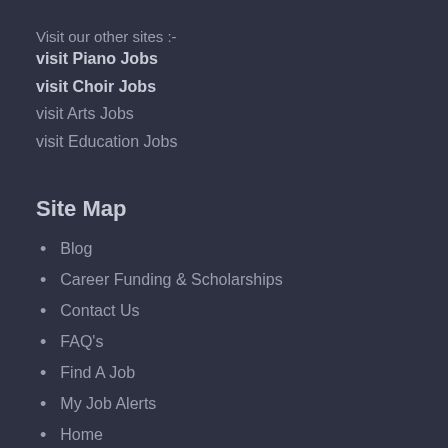Visit our other sites :-
visit Piano Jobs
visit Choir Jobs
visit Arts Jobs
visit Education Jobs
Site Map
Blog
Career Funding & Scholarships
Contact Us
FAQ's
Find A Job
My Job Alerts
Home
Job Dashboard
Login